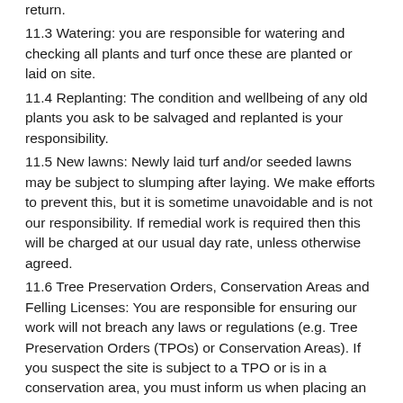return.
11.3 Watering: you are responsible for watering and checking all plants and turf once these are planted or laid on site.
11.4 Replanting: The condition and wellbeing of any old plants you ask to be salvaged and replanted is your responsibility.
11.5 New lawns: Newly laid turf and/or seeded lawns may be subject to slumping after laying. We make efforts to prevent this, but it is sometime unavoidable and is not our responsibility. If remedial work is required then this will be charged at our usual day rate, unless otherwise agreed.
11.6 Tree Preservation Orders, Conservation Areas and Felling Licenses: You are responsible for ensuring our work will not breach any laws or regulations (e.g. Tree Preservation Orders (TPOs) or Conservation Areas). If you suspect the site is subject to a TPO or is in a conservation area, you must inform us when placing an order. We can check for the presence of (TPOs and conservation areas). We can check on a discretion